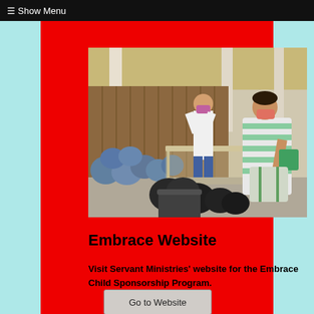☰ Show Menu
[Figure (photo): Two people wearing face masks distributing supplies. A woman in a striped top holds a green bag, with many black and blue garbage bags on and around a table in an outdoor covered area.]
Embrace Website
Visit Servant Ministries' website for the Embrace Child Sponsorship Program.
Go to Website